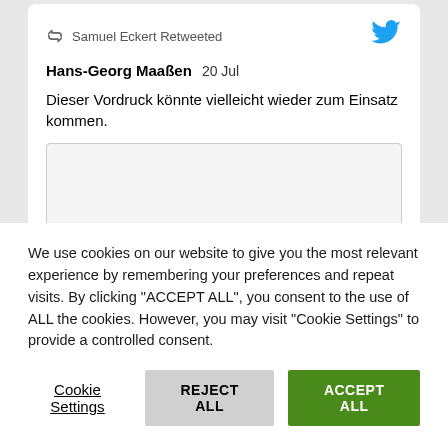[Figure (screenshot): Twitter/X retweet icon and text showing 'Samuel Eckert Retweeted' with blue Twitter bird logo]
Samuel Eckert Retweeted
Hans-Georg Maaßen  20 Jul
Dieser Vordruck könnte vielleicht wieder zum Einsatz kommen.
[Figure (screenshot): Embedded image placeholder within tweet card (light gray box)]
We use cookies on our website to give you the most relevant experience by remembering your preferences and repeat visits. By clicking "ACCEPT ALL", you consent to the use of ALL the cookies. However, you may visit "Cookie Settings" to provide a controlled consent.
Cookie Settings   REJECT ALL   ACCEPT ALL